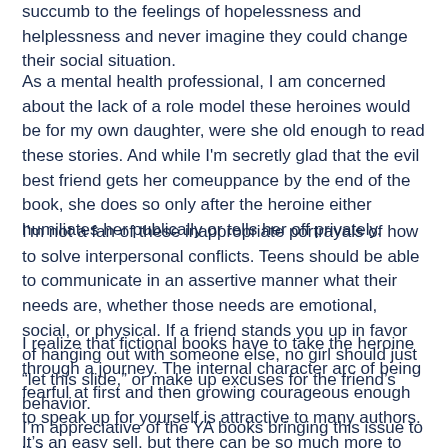succumb to the feelings of hopelessness and helplessness and never imagine they could change their social situation.
As a mental health professional, I am concerned about the lack of a role model these heroines would be for my own daughter, were she old enough to read these stories. And while I'm secretly glad that the evil best friend gets her comeuppance by the end of the book, she does so only after the heroine either humiliates her publically or tells her off privately.
I'm not a fan of these inappropriate portrayals of how to solve interpersonal conflicts. Teens should be able to communicate in an assertive manner what their needs are, whether those needs are emotional, social, or physical. If a friend stands you up in favor of hanging out with someone else, no girl should just “let this slide,” or make up excuses for the friend’s behavior.
I realize that fictional books have to take the heroine through a journey. The internal character arc of being fearful at first and then growing courageous enough to speak up for yourself is attractive to many authors. It’s an easy sell, but there can be so much more to fiction!
I’m appreciative of the YA books bringing this issue to light, but we have to